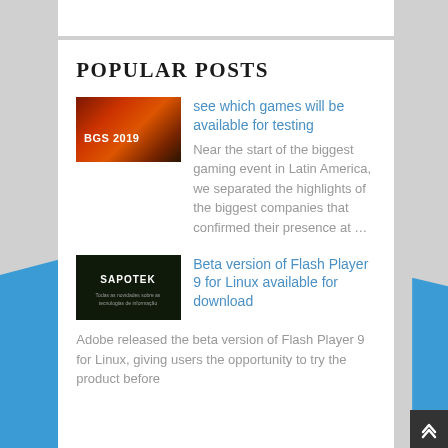POPULAR POSTS
[Figure (photo): Thumbnail image with orange/red fire-like background and text 'BGS 2019']
see which games will be available for testing
Near the start of the biggest gaming event in Latin America, we separated the highlights of the biggest companies that confirmed their presence at …
[Figure (photo): Dark thumbnail with text 'SAPOTEK' and subtitle text below]
Beta version of Flash Player 9 for Linux available for download
Adobe released the beta version of Flash Player 9 for Linux, giving users the opportunity to try the product before